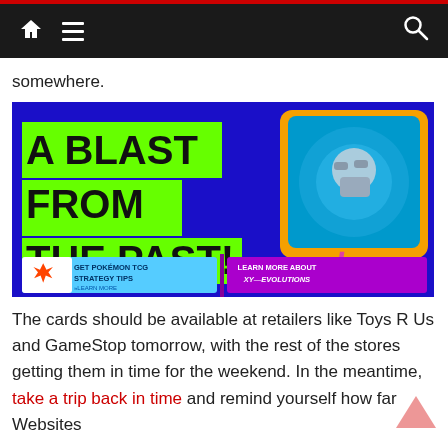Navigation bar with home, menu, and search icons
somewhere.
[Figure (screenshot): Pokemon XY Evolutions promotional banner with blue background, green text reading 'A BLAST FROM THE PAST! ALL ORIGINAL POKÉMON. ALL MODERN RULES.' and a Pokemon card image on the right, with buttons 'GET POKÉMON TCG STRATEGY TIPS' and 'LEARN MORE ABOUT XY—EVOLUTIONS']
The cards should be available at retailers like Toys R Us and GameStop tomorrow, with the rest of the stores getting them in time for the weekend. In the meantime, take a trip back in time and remind yourself how far Websites